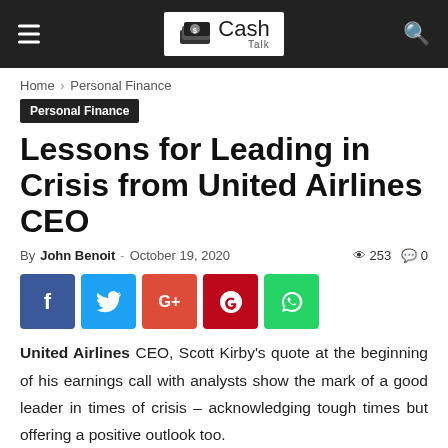Cash Talk
Home › Personal Finance
Personal Finance
Lessons for Leading in Crisis from United Airlines CEO
By John Benoit - October 19, 2020  253  0
[Figure (infographic): Social share buttons: Facebook, Twitter, Google+, Pinterest, WhatsApp]
United Airlines CEO, Scott Kirby's quote at the beginning of his earnings call with analysts show the mark of a good leader in times of crisis – acknowledging tough times but offering a positive outlook too.